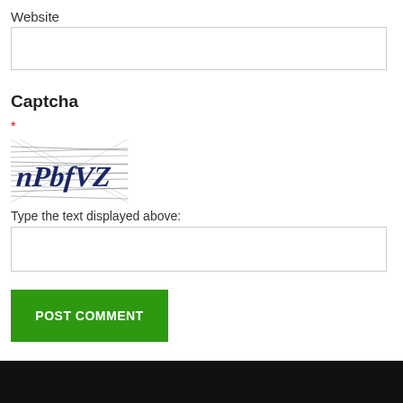Website
[Figure (screenshot): Empty text input field for Website]
Captcha
*
[Figure (illustration): CAPTCHA image showing distorted text 'nPbfVZ' with crossed horizontal lines over dark blue letters]
Type the text displayed above:
[Figure (screenshot): Empty text input field for captcha answer]
POST COMMENT